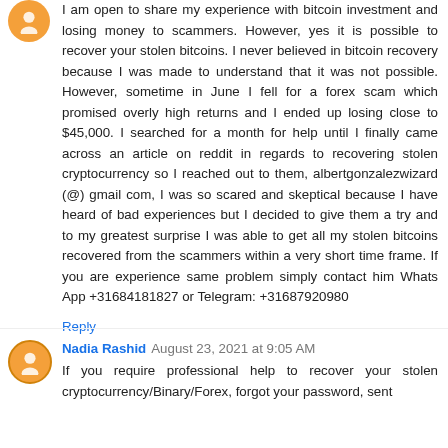I am open to share my experience with bitcoin investment and losing money to scammers. However, yes it is possible to recover your stolen bitcoins. I never believed in bitcoin recovery because I was made to understand that it was not possible. However, sometime in June I fell for a forex scam which promised overly high returns and I ended up losing close to $45,000. I searched for a month for help until I finally came across an article on reddit in regards to recovering stolen cryptocurrency so I reached out to them, albertgonzalezwizard (@) gmail com, I was so scared and skeptical because I have heard of bad experiences but I decided to give them a try and to my greatest surprise I was able to get all my stolen bitcoins recovered from the scammers within a very short time frame. If you are experience same problem simply contact him Whats App +31684181827 or Telegram: +31687920980
Reply
Nadia Rashid  August 23, 2021 at 9:05 AM
If you require professional help to recover your stolen cryptocurrency/Binary/Forex, forgot your password, sent crypto to wrong address,